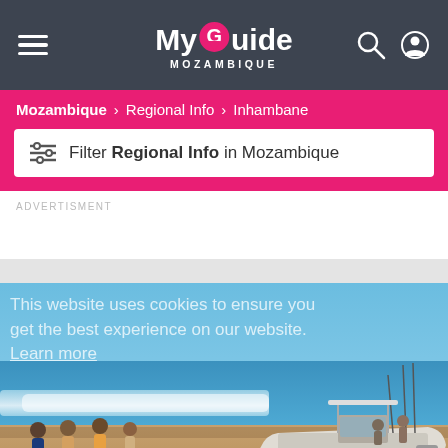My Guide Mozambique — navigation header with hamburger menu, logo, search and user icons
Mozambique > Regional Info > Inhambane
Filter Regional Info in Mozambique
ADVERTISMENT
[Figure (photo): Beach scene in Inhambane, Mozambique with blue sky, ocean waves, sandy beach. A boat on a trailer is visible on the right with people gathered around it. Cookie notice overlay reads: This website uses cookies to ensure you get the best experience on our website. Learn more. Got it! button visible.]